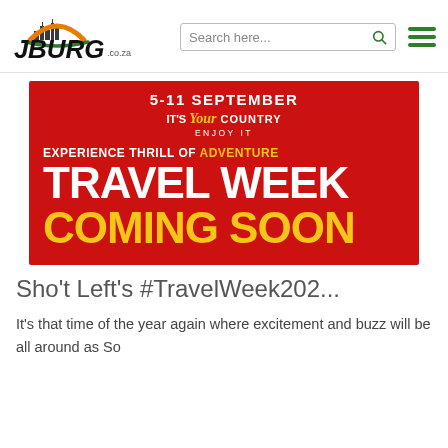[Figure (logo): Joburg.co.za logo with city skyline and orange sun graphic]
[Figure (screenshot): Search bar with text 'Search here...' and green search icon]
[Figure (infographic): Red banner: '5-11 SEPTEMBER / IT'S Your COUNTRY ENJOY IT / EXPERIENCE THRILL OF ADVENTURE / TRAVEL WEEK / COMING SOON']
Sho't Left's #TravelWeek202...
It's that time of the year again where excitement and buzz will be all around as So